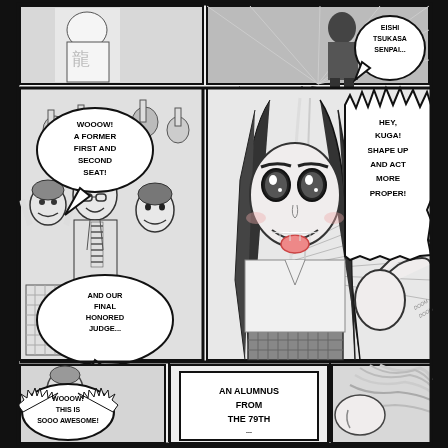[Figure (illustration): Manga page with multiple panels. Top panels show a figure in uniform and speed lines. Middle left panel shows excited crowd. Center panel shows female character Rindo Kobayashi sticking out tongue. Right side has speech bubble from off-panel character. Bottom panels show crowd reaction and text about alumnus from 79th.]
EISHI TSUKASA SENPAI...
...AND RINDO KOBAYASHI SENPAI!
WOOOW! A FORMER FIRST AND SECOND SEAT!
HEY, KUGA! SHAPE UP AND ACT MORE PROPER!
AND OUR FINAL HONORED JUDGE...
WOOOW! THIS IS SOOO AWESOME!
AN ALUMNUS FROM THE 79TH...